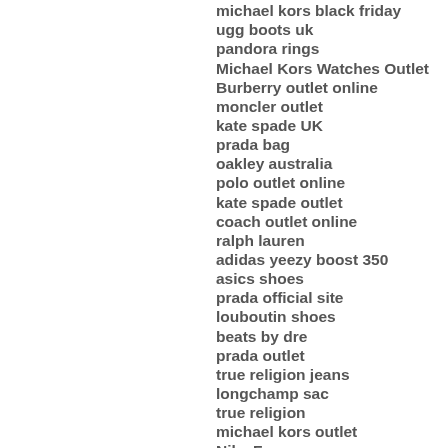moncler down jackets
michael kors black friday
ugg boots uk
pandora rings
Michael Kors Watches Outlet
Burberry outlet online
moncler outlet
kate spade UK
prada bag
oakley australia
polo outlet online
kate spade outlet
coach outlet online
ralph lauren
adidas yeezy boost 350
asics shoes
prada official site
louboutin shoes
beats by dre
prada outlet
true religion jeans
longchamp sac
true religion
michael kors outlet
Nike Free
moncler clothing
pandora necklace charms
oakley outlet
salomon shoes
coach handbags
KobeX Shoes